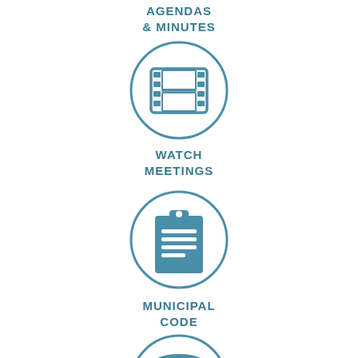[Figure (infographic): Circle icon with film strip / movie reel icon in teal blue]
AGENDAS & MINUTES
[Figure (infographic): Circle icon with film reel/filmstrip icon in teal blue]
WATCH MEETINGS
[Figure (infographic): Circle icon with clipboard and lines icon in teal blue]
MUNICIPAL CODE
[Figure (infographic): Circle icon with umbrella icon in teal blue, partially visible at bottom]